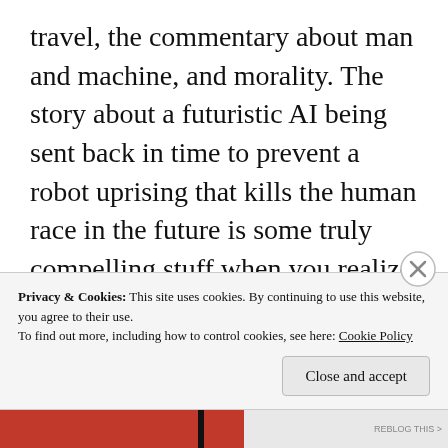travel, the commentary about man and machine, and morality. The story about a futuristic AI being sent back in time to prevent a robot uprising that kills the human race in the future is some truly compelling stuff when you realize who this AI has to team up with to save humanity. The other side of the equation is the first AI android who the future AI goes to find doesn't believe this super AI from the future is telling the truth. The real drama and driving force are the different ideals of the two
Privacy & Cookies: This site uses cookies. By continuing to use this website, you agree to their use.
To find out more, including how to control cookies, see here: Cookie Policy
Close and accept